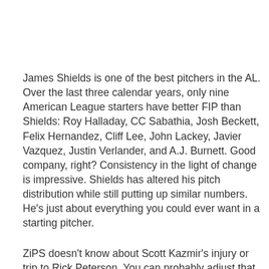James Shields is one of the best pitchers in the AL. Over the last three calendar years, only nine American League starters have better FIP than Shields: Roy Halladay, CC Sabathia, Josh Beckett, Felix Hernandez, Cliff Lee, John Lackey, Javier Vazquez, Justin Verlander, and A.J. Burnett. Good company, right? Consistency in the light of change is impressive. Shields has altered his pitch distribution while still putting up similar numbers. He's just about everything you could ever want in a starting pitcher.
ZiPS doesn't know about Scott Kazmir's injury or trip to Rick Peterson. You can probably adjust that projection